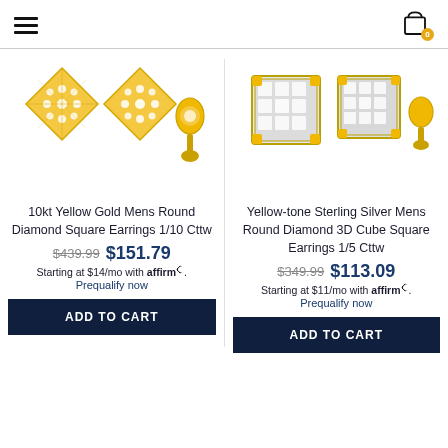Navigation header with hamburger menu and cart icon (0 items)
[Figure (photo): 10kt Yellow Gold diamond square stud earrings shown from front and side angle on white background]
10kt Yellow Gold Mens Round Diamond Square Earrings 1/10 Cttw
$439.99  $151.79
Starting at $14/mo with affirm.
Prequalify now
[Figure (photo): Yellow-tone Sterling Silver diamond 3D cube square stud earrings shown from front and side angle on white background]
Yellow-tone Sterling Silver Mens Round Diamond 3D Cube Square Earrings 1/5 Cttw
$349.99  $113.09
Starting at $11/mo with affirm.
Prequalify now